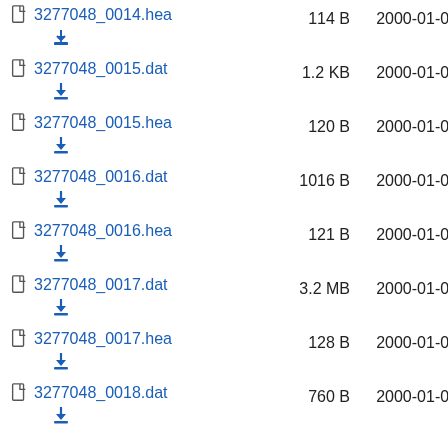3277048_0014.hea  114 B  2000-01-01
3277048_0015.dat  1.2 KB  2000-01-01
3277048_0015.hea  120 B  2000-01-01
3277048_0016.dat  1016 B  2000-01-01
3277048_0016.hea  121 B  2000-01-01
3277048_0017.dat  3.2 MB  2000-01-01
3277048_0017.hea  128 B  2000-01-01
3277048_0018.dat  760 B  2000-01-01